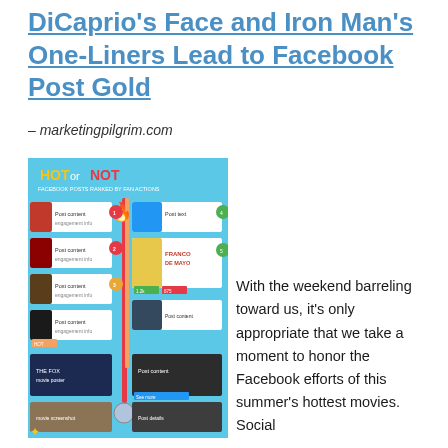DiCaprio's Face and Iron Man's One-Liners Lead to Facebook Post Gold
– marketingpilgrim.com
[Figure (infographic): Hot or Not infographic showing Facebook posts ranked by fan actions, featuring movie-related Facebook posts with images and engagement metrics on a blue background with a red/orange thermometer graphic.]
With the weekend barreling toward us, it's only appropriate that we take a moment to honor the Facebook efforts of this summer's hottest movies. Social